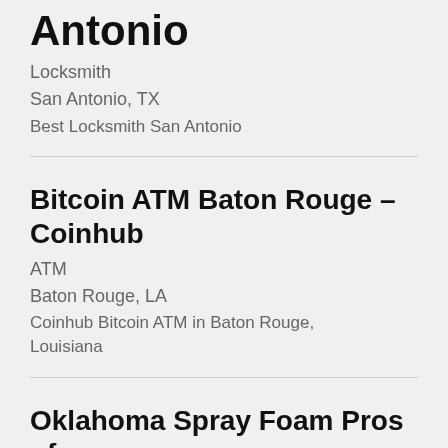Antonio
Locksmith
San Antonio, TX
Best Locksmith San Antonio
Bitcoin ATM Baton Rouge – Coinhub
ATM
Baton Rouge, LA
Coinhub Bitcoin ATM in Baton Rouge, Louisiana
Oklahoma Spray Foam Pros of Choctaw